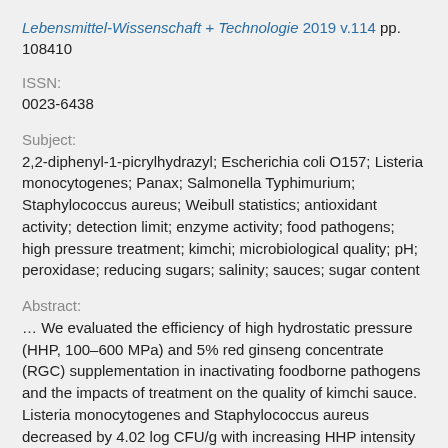Lebensmittel-Wissenschaft + Technologie 2019 v.114 pp. 108410
ISSN:
0023-6438
Subject:
2,2-diphenyl-1-picrylhydrazyl; Escherichia coli O157; Listeria monocytogenes; Panax; Salmonella Typhimurium; Staphylococcus aureus; Weibull statistics; antioxidant activity; detection limit; enzyme activity; food pathogens; high pressure treatment; kimchi; microbiological quality; pH; peroxidase; reducing sugars; salinity; sauces; sugar content
Abstract:
… We evaluated the efficiency of high hydrostatic pressure (HHP, 100–600 MPa) and 5% red ginseng concentrate (RGC) supplementation in inactivating foodborne pathogens and the impacts of treatment on the quality of kimchi sauce. Listeria monocytogenes and Staphylococcus aureus decreased by 4.02 log CFU/g with increasing HHP intensity